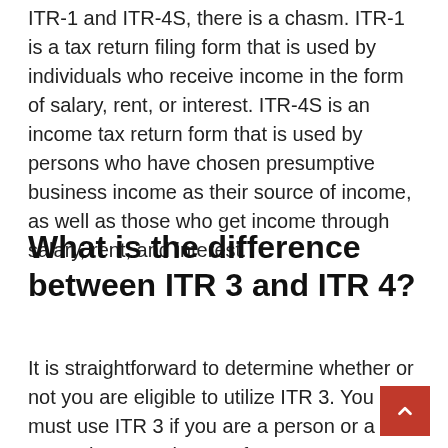ITR-1 and ITR-4S, there is a chasm. ITR-1 is a tax return filing form that is used by individuals who receive income in the form of salary, rent, or interest. ITR-4S is an income tax return form that is used by persons who have chosen presumptive business income as their source of income, as well as those who get income through salary, rent, and interest.
What is the difference between ITR 3 and ITR 4?
It is straightforward to determine whether or not you are eligible to utilize ITR 3. You must use ITR 3 if you are a person or a HUF who earns income from any company or